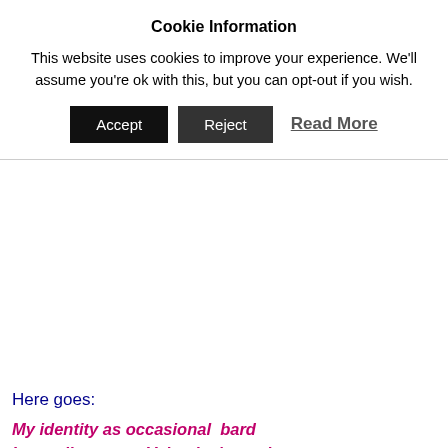Cookie Information
This website uses cookies to improve your experience. We'll assume you're ok with this, but you can opt-out if you wish.
Accept   Reject   Read More
Here goes:
My identity as occasional  bard
Is sending you a Valentine's card.
I thought of you and sweetly drafted,
So cherish and save  these words I crafted.
It doesn't have to be a  rhyme, it can be anything – just get started. Ye
What do I think about identity Cards? Will they really make us m possible terrorists attacks, stop illegal immigrants, will they help drafting in new, impressionable recruits?
See if this gets your creative juices flowing – look at what's around yo you may be surprised how easy it can be to get into the flow!
FOR YOUR FREE GUIDE TO WRITING SHORT POEMS, LEAVE A